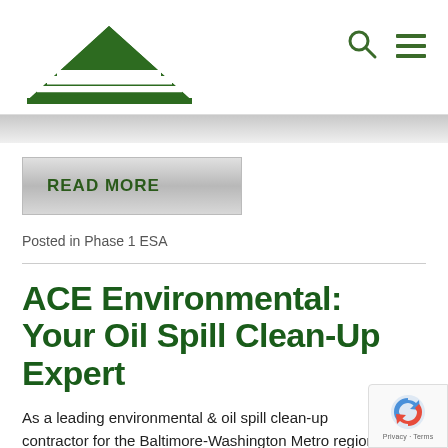[Figure (logo): ACE Environmental company logo — green triangle with horizontal white stripes, resembling a stylized mountain or tree]
READ MORE
Posted in Phase 1 ESA
ACE Environmental: Your Oil Spill Clean-Up Expert
As a leading environmental & oil spill clean-up contractor for the Baltimore-Washington Metro region,